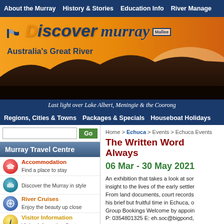About the Murray  History & Stories  Education Info  River Manage
[Figure (photo): Discover Murray Mallee banner with sunset over landscape. Text: Discover Murray Mallee - Australia's Great River]
Last light over Lake Albert, Meningie & the Coorong
Regions, Cities & Towns  Packages & Specials  Houseboat Holidays
Murray Travel Centre
Accommodation - Find a place to stay
Discover the Murray in style
River Cruises - Enjoy the beauty up close
Visitor Information - Visitor Information Centres
Home > Echuca > Events > Echuca Events
The Written Word Always
06 Mar - 30 May 2021
An exhibition that takes a look at so... insight to the lives of the early settler... From land documents, court records... his brief but fruitful time in Echuca, o... Group Bookings Welcome by appoin... P: 0354801325 E: eh.soc@bigpond,